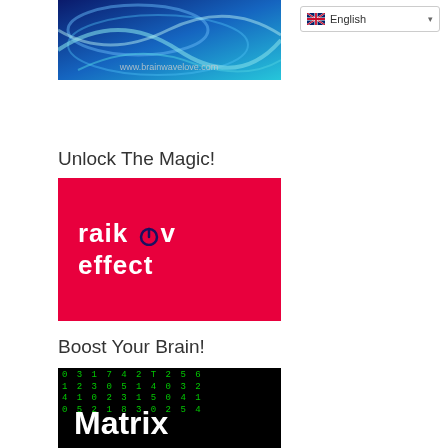[Figure (illustration): Brainwave love banner with abstract blue swirl wave background and www.brainwavelove.com watermark]
[Figure (screenshot): English language selector dropdown with UK flag icon]
Unlock The Magic!
[Figure (logo): Raikov Effect logo: white text 'raikov effect' on red background with power button icon]
Boost Your Brain!
[Figure (illustration): Matrix-style image with green digital code rain in background and large white 'Matrix' text]